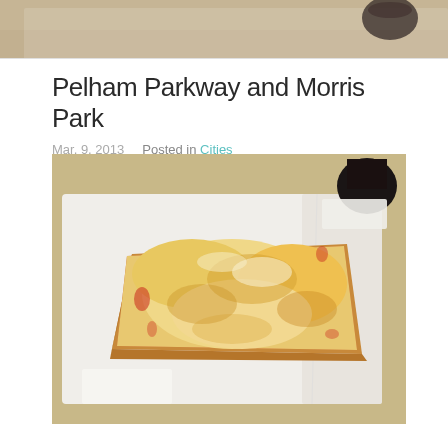[Figure (photo): Top strip photo — partial view of a table surface with food items, beige/tan tones]
Pelham Parkway and Morris Park
Mar, 9, 2013    Posted in Cities
[Figure (photo): A rectangular Sicilian-style pizza slice on white paper on a white plate, with melted golden-brown mozzarella cheese. A dark glass bottle is visible in the upper right corner.]